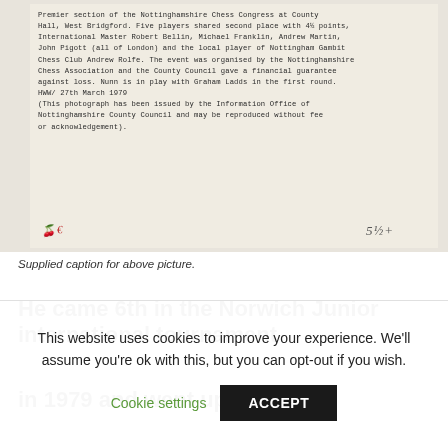[Figure (photo): Scanned typewritten document text on aged paper background, with handwritten annotations in red and grey ink at the bottom. The typed text describes the Premier section of the Nottinghamshire Chess Congress at County Hall, West Bridgford, mentioning players sharing second place, the event organiser, and a photo caption referencing Nunn and Graham Ladds in the first round. Dated HWW/ 27th March 1979.]
Supplied caption for above picture.
He came 6th in the Norwich Junior international tournament in 1979 and went up to Oxford University to take a
This website uses cookies to improve your experience. We'll assume you're ok with this, but you can opt-out if you wish. Cookie settings ACCEPT